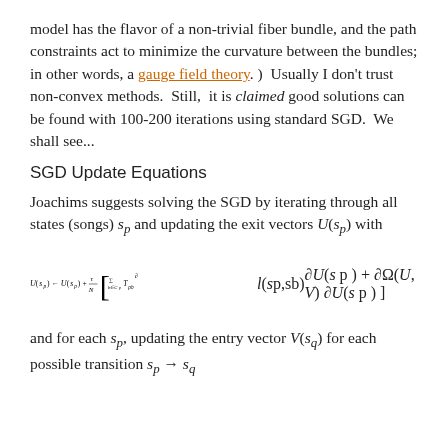model has the flavor of a non-trivial fiber bundle, and the path constraints act to minimize the curvature between the bundles; in other words, a gauge field theory. )  Usually I don't trust non-convex methods.  Still,  it is claimed good solutions can be found with 100-200 iterations using standard SGD.  We shall see...
SGD Update Equations
Joachims suggests solving the SGD by iterating through all states (songs) s_p and updating the exit vectors U(s_p) with
and for each s_p, updating the entry vector V(s_q) for each possible transition s_p → s_q